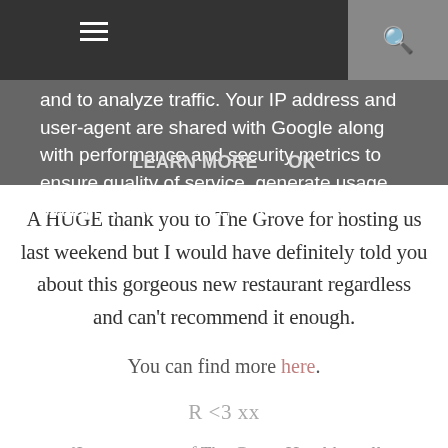☰ [menu icon] | [search icon]
and to analyze traffic. Your IP address and user-agent are shared with Google along with performance and security metrics to ensure quality of service, generate usage statistics, and to detect and address abuse.
LEARN MORE   OK
A HUGE thank you to The Grove for hosting us last weekend but I would have definitely told you about this gorgeous new restaurant regardless and can't recommend it enough.
You can find more here.
R <3 xx
{I was a guest of The Grove Hotel but all